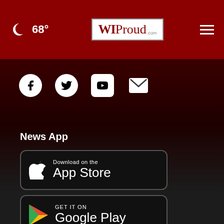68° WIProud.com
[Figure (infographic): Social media icons: Facebook, Twitter, YouTube, Email/Mail]
News App
[Figure (infographic): Download on the App Store button]
[Figure (infographic): GET IT ON Google Play button]
Meet the Team
Contact Us
Jobs
[Figure (infographic): Advertisement banner: Get Your Pet Ready For Summe - Petco]